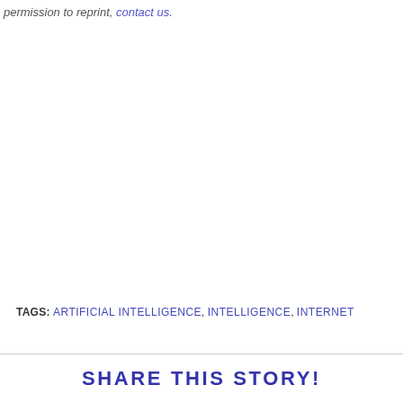permission to reprint, contact us.
TAGS: ARTIFICIAL INTELLIGENCE, INTELLIGENCE, INTERNET
SHARE THIS STORY!